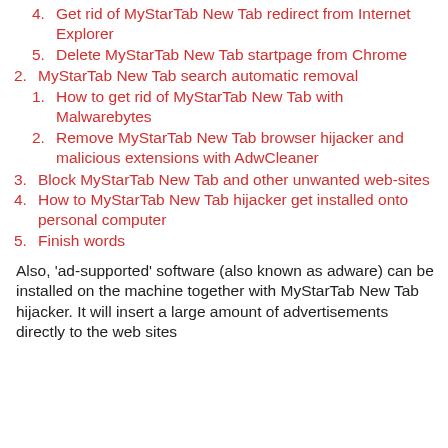4. Get rid of MyStarTab New Tab redirect from Internet Explorer
5. Delete MyStarTab New Tab startpage from Chrome
2. MyStarTab New Tab search automatic removal
1. How to get rid of MyStarTab New Tab with Malwarebytes
2. Remove MyStarTab New Tab browser hijacker and malicious extensions with AdwCleaner
3. Block MyStarTab New Tab and other unwanted web-sites
4. How to MyStarTab New Tab hijacker get installed onto personal computer
5. Finish words
Also, ‘ad-supported’ software (also known as adware) can be installed on the machine together with MyStarTab New Tab hijacker. It will insert a large amount of advertisements directly to the web sites